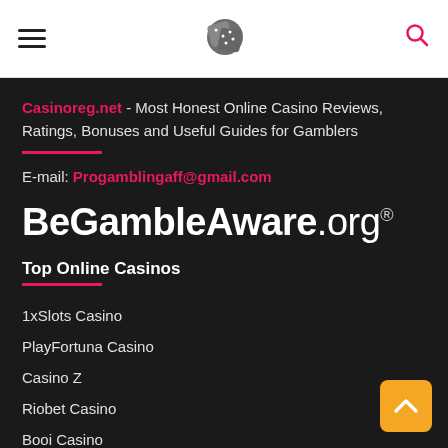Casinoreg.net navigation header with hamburger menu, dice logo, and search icon
Casinoreg.net - Most Honest Online Casino Reviews, Ratings, Bonuses and Useful Guides for Gamblers
E-mail: Progamblingaff@gmail.com
[Figure (logo): BeGambleAware.org logo in white bold text with registered trademark symbol]
Top Online Casinos
1xSlots Casino
PlayFortuna Casino
Casino Z
Riobet Casino
Booi Casino